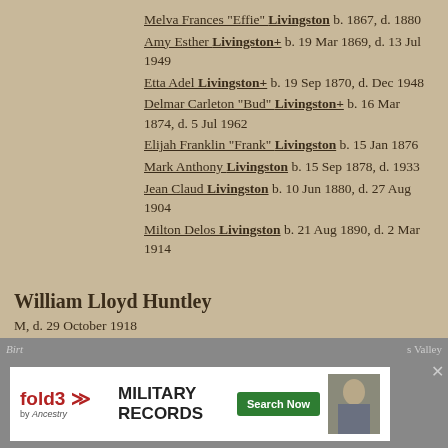Melva Frances "Effie" Livingston b. 1867, d. 1880
Amy Esther Livingston+ b. 19 Mar 1869, d. 13 Jul 1949
Etta Adel Livingston+ b. 19 Sep 1870, d. Dec 1948
Delmar Carleton "Bud" Livingston+ b. 16 Mar 1874, d. 5 Jul 1962
Elijah Franklin "Frank" Livingston b. 15 Jan 1876
Mark Anthony Livingston b. 15 Sep 1878, d. 1933
Jean Claud Livingston b. 10 Jun 1880, d. 27 Aug 1904
Milton Delos Livingston b. 21 Aug 1890, d. 2 Mar 1914
William Lloyd Huntley
M, d. 29 October 1918
Charts:
[Figure (screenshot): fold3 by Ancestry military records advertisement banner with Search Now button and soldier photo]